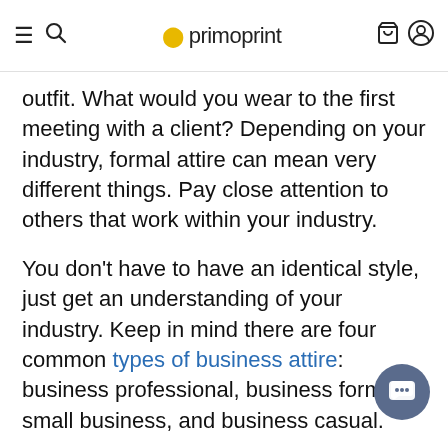primoprint
Before you get started with photography, take a moment, and think about your outfit. What would you wear to the first meeting with a client? Depending on your industry, formal attire can mean very different things. Pay close attention to others that work within your industry.
You don't have to have an identical style, just get an understanding of your industry. Keep in mind there are four common types of business attire: business professional, business formal, small business, and business casual.
What to Wear?
Be sure to wear solid colors and nothing that has writing on them. Black, dark colors or jewel tones tend to photograph